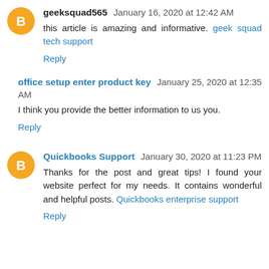geeksquad565 January 16, 2020 at 12:42 AM
this article is amazing and informative. geek squad tech support
Reply
office setup enter product key January 25, 2020 at 12:35 AM
I think you provide the better information to us you.
Reply
Quickbooks Support January 30, 2020 at 11:23 PM
Thanks for the post and great tips! I found your website perfect for my needs. It contains wonderful and helpful posts. Quickbooks enterprise support
Reply